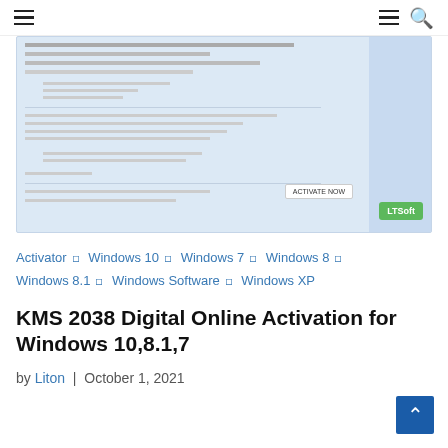Navigation header with hamburger menu icons and search icon
[Figure (screenshot): Screenshot of a command prompt or activation tool window showing code/text lines on a blue-tinted background with a white activation button and green LTSoft badge in the bottom right corner]
Activator ◇ Windows 10 ◇ Windows 7 ◇ Windows 8 ◇ Windows 8.1 ◇ Windows Software ◇ Windows XP
KMS 2038 Digital Online Activation for Windows 10,8.1,7
by Liton | October 1, 2021